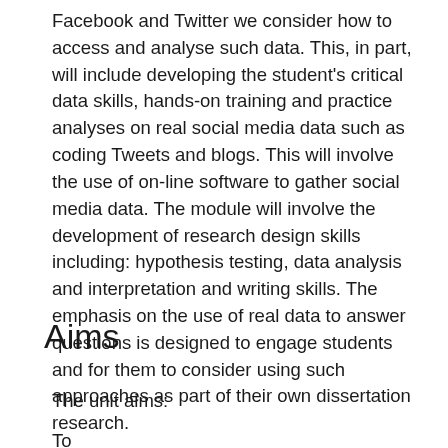Facebook and Twitter we consider how to access and analyse such data. This, in part, will include developing the student's critical data skills, hands-on training and practice analyses on real social media data such as coding Tweets and blogs. This will involve the use of on-line software to gather social media data. The module will involve the development of research design skills including: hypothesis testing, data analysis and interpretation and writing skills. The emphasis on the use of real data to answer questions is designed to engage students and for them to consider using such approaches as part of their own dissertation research.
Aims
The unit aims:
To …